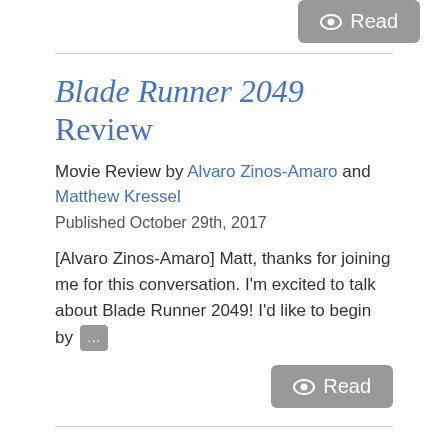[Figure (other): Read button with eye icon at top right]
Blade Runner 2049 Review
Movie Review by Alvaro Zinos-Amaro and Matthew Kressel
Published October 29th, 2017
[Alvaro Zinos-Amaro] Matt, thanks for joining me for this conversation. I'm excited to talk about Blade Runner 2049! I'd like to begin by …
[Figure (other): Read button with eye icon at bottom right]
It Review